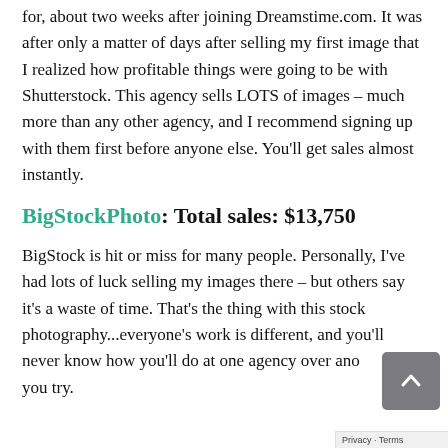for, about two weeks after joining Dreamstime.com. It was after only a matter of days after selling my first image that I realized how profitable things were going to be with Shutterstock. This agency sells LOTS of images – much more than any other agency, and I recommend signing up with them first before anyone else. You'll get sales almost instantly.
BigStockPhoto: Total sales: $13,750
BigStock is hit or miss for many people. Personally, I've had lots of luck selling my images there – but others say it's a waste of time. That's the thing with this stock photography...everyone's work is different, and you'll never know how you'll do at one agency over another until you try.